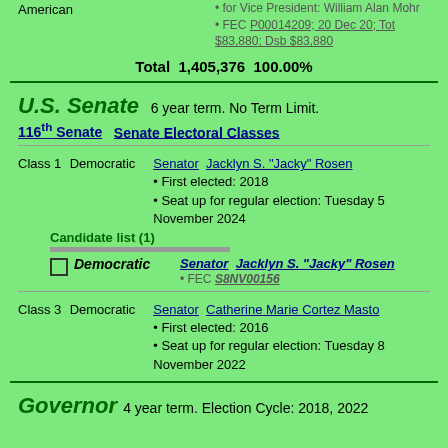American
• for Vice President: William Alan Mohr
• FEC P00014209; 20 Dec 20; Tot $83,880; Dsb $83,880
Total  1,405,376  100.00%
U.S. Senate  6 year term. No Term Limit.
116th Senate  Senate Electoral Classes
Class 1  Democratic  Senator  Jacklyn S. "Jacky" Rosen
• First elected: 2018
• Seat up for regular election: Tuesday 5 November 2024
Candidate list (1)
Democratic  Senator  Jacklyn S. "Jacky" Rosen
• FEC S8NV00156
Class 3  Democratic  Senator  Catherine Marie Cortez Masto
• First elected: 2016
• Seat up for regular election: Tuesday 8 November 2022
Governor  4 year term. Election Cycle: 2018, 2022